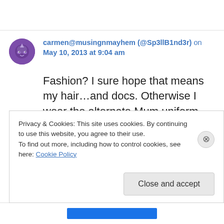carmen@musingnmayhem (@Sp3llB1nd3r) on May 10, 2013 at 9:04 am
Fashion? I sure hope that means my hair…and docs. Otherwise I wear the alternate Mum uniform. Jeans and tees…you know, roller derby ones. Oh well, at least I leave out the fishnets!
Privacy & Cookies: This site uses cookies. By continuing to use this website, you agree to their use.
To find out more, including how to control cookies, see here: Cookie Policy
Close and accept